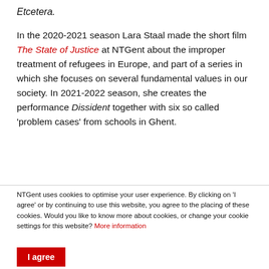Etcetera.
In the 2020-2021 season Lara Staal made the short film The State of Justice at NTGent about the improper treatment of refugees in Europe, and part of a series in which she focuses on several fundamental values in our society. In 2021-2022 season, she creates the performance Dissident together with six so called 'problem cases' from schools in Ghent.
NTGent uses cookies to optimise your user experience. By clicking on 'I agree' or by continuing to use this website, you agree to the placing of these cookies. Would you like to know more about cookies, or change your cookie settings for this website? More information
I agree